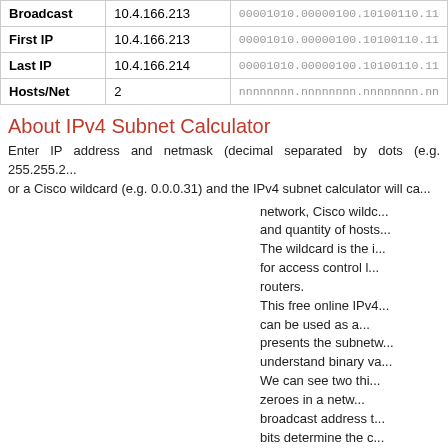|  |  |  |
| --- | --- | --- |
| Broadcast | 10.4.166.213 | 00001010.00000100.10100110.11... |
| First IP | 10.4.166.213 | 00001010.00000100.10100110.11... |
| Last IP | 10.4.166.214 | 00001010.00000100.10100110.11... |
| Hosts/Net | 2 | nnnnnnnn.nnnnnnnn.nnnnnnnn.nn... |
About IPv4 Subnet Calculator
Enter IP address and netmask (decimal separated by dots (e.g. 255.255.2... or a Cisco wildcard (e.g. 0.0.0.31) and the IPv4 subnet calculator will ca... network, Cisco wildc... and quantity of hosts... The wildcard is the i... for access control l... routers. This free online IPv4... can be used as a... presents the subnetw... understand binary va... We can see two thi... zeroes in a netw... broadcast address t... bits determine the c... from A to E. A, B a... used. Each class ha... addresses.
Address Range of Class A - 1.0.0.1 to 126.255.255.254 (supports 16 mi...